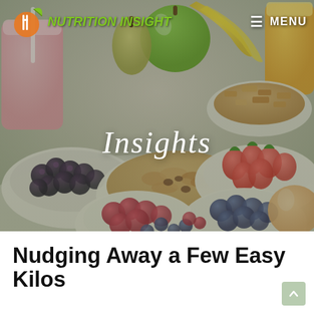[Figure (photo): Hero background photo of assorted fruits, berries, granola and nuts in white bowls — blackberries, raspberries, blueberries, strawberries, granola, apple, pear, banana, orange juice — spread across a table, with a pink smoothie glass on the left.]
NUTRITION INSIGHT  ☰ MENU
Insights
Nudging Away a Few Easy Kilos